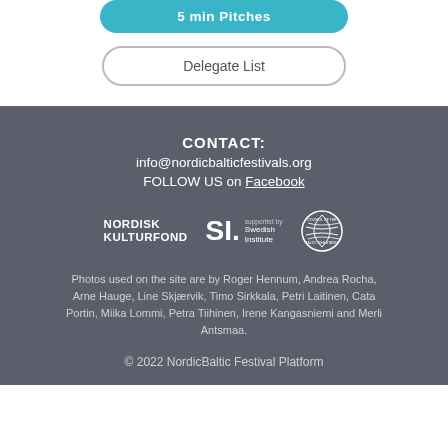[Figure (screenshot): Blue rounded button with text '5 min Pitches' (partially visible at top)]
[Figure (screenshot): Outlined rounded button with text 'Delegate List']
CONTACT:
info@nordicbalticfestivals.org
FOLLOW US on Facebook
[Figure (logo): Logos: Nordisk Kulturfond, Swedish Institute (SI), Council of the Baltic Sea States]
Photos used on the site are by Roger Hennum, Andrea Rocha, Arne Hauge, Line Skjærvik, Timo Sirkkala, Petri Laitinen, Cata Portin, Miika Lommi, Petra Tiihinen, Irene Kangasniemi and Merli Antsmaa.
© 2022 NordicBaltic Festival Platform